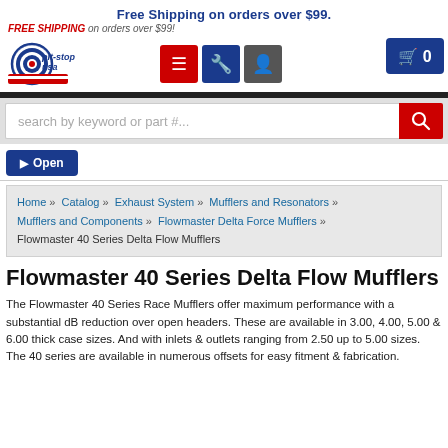Free Shipping on orders over $99.
FREE SHIPPING on orders over $99!
[Figure (logo): Pit Stop USA logo with American flag ribbon and circular gear/star emblem]
search by keyword or part #...
Open
Home » Catalog » Exhaust System » Mufflers and Resonators » Mufflers and Components » Flowmaster Delta Force Mufflers » Flowmaster 40 Series Delta Flow Mufflers
Flowmaster 40 Series Delta Flow Mufflers
The Flowmaster 40 Series Race Mufflers offer maximum performance with a substantial dB reduction over open headers. These are available in 3.00, 4.00, 5.00 & 6.00 thick case sizes. And with inlets & outlets ranging from 2.50 up to 5.00 sizes. The 40 series are available in numerous offsets for easy fitment & fabrication.